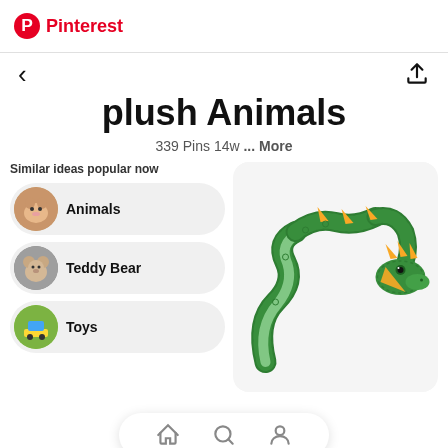Pinterest
plush Animals
339 Pins 14w ... More
Similar ideas popular now
Animals
Teddy Bear
Toys
[Figure (photo): Green plush dragon toy (B.J. Toyco inc green sea dragon)]
B.J.Toyco inc green sea